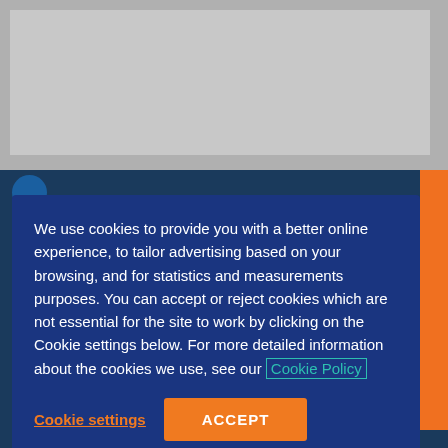[Figure (screenshot): Website screenshot showing a cookie consent modal over a dark blue educational website background. The top portion shows a gray advertisement banner area. Below is a dark navy blue cookie consent box with white text explaining cookie usage, a teal 'Cookie Policy' link with border, an orange 'Cookie settings' underlined link, and an orange 'ACCEPT' button. Behind the modal, partially visible are teal 'Medics!' text and white body text.]
We use cookies to provide you with a better online experience, to tailor advertising based on your browsing, and for statistics and measurements purposes. You can accept or reject cookies which are not essential for the site to work by clicking on the Cookie settings below. For more detailed information about the cookies we use, see our Cookie Policy
Cookie settings
ACCEPT
Medics!
Our site is visited by millions of students, advisers and